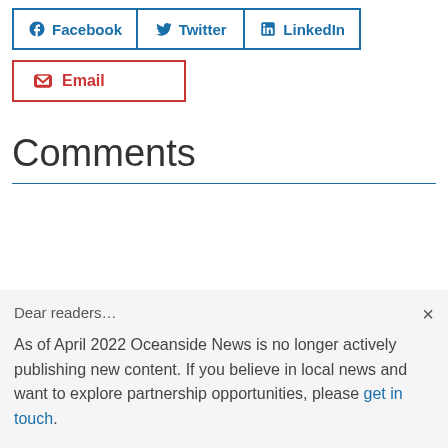[Figure (other): Social share buttons row: Facebook, Twitter, LinkedIn]
[Figure (other): Email share button with red border]
Comments
Dear readers...

As of April 2022 Oceanside News is no longer actively publishing new content. If you believe in local news and want to explore partnership opportunities, please get in touch.